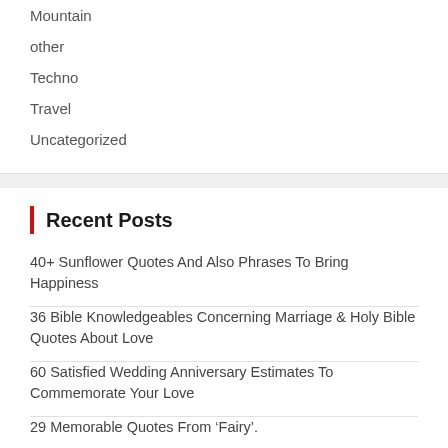Mountain
other
Techno
Travel
Uncategorized
Recent Posts
40+ Sunflower Quotes And Also Phrases To Bring Happiness
36 Bible Knowledgeables Concerning Marriage & Holy Bible Quotes About Love
60 Satisfied Wedding Anniversary Estimates To Commemorate Your Love
29 Memorable Quotes From ‘Fairy’.